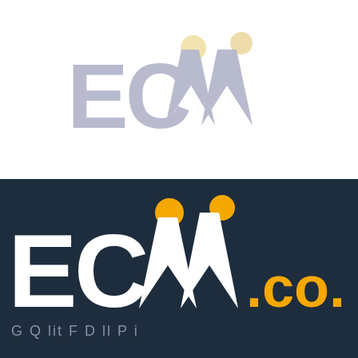[Figure (logo): ECVV logo in light gray/lavender color on white background, showing stylized text ECvv with two circular dots above the v shapes]
[Figure (logo): ECVV logo in white with orange dots on dark navy background, with .co.in in orange, and partial tagline text at bottom]